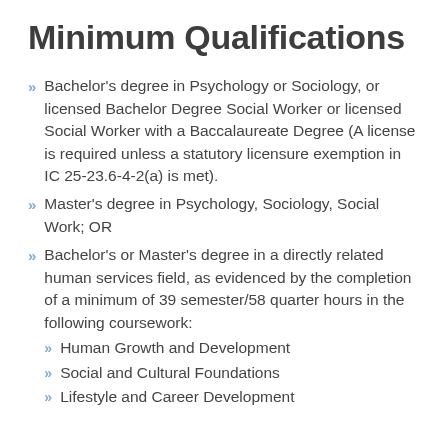Minimum Qualifications
Bachelor's degree in Psychology or Sociology, or licensed Bachelor Degree Social Worker or licensed Social Worker with a Baccalaureate Degree (A license is required unless a statutory licensure exemption in IC 25-23.6-4-2(a) is met).
Master's degree in Psychology, Sociology, Social Work; OR
Bachelor's or Master's degree in a directly related human services field, as evidenced by the completion of a minimum of 39 semester/58 quarter hours in the following coursework:
Human Growth and Development
Social and Cultural Foundations
Lifestyle and Career Development